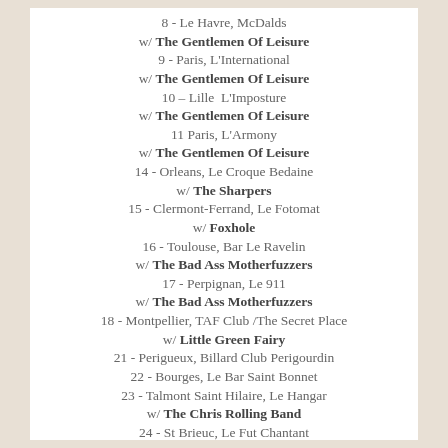8 - Le Havre, McDalds
w/ The Gentlemen Of Leisure
9 - Paris, L'International
w/ The Gentlemen Of Leisure
10 – Lille  L'Imposture
w/ The Gentlemen Of Leisure
11 Paris, L'Armony
w/ The Gentlemen Of Leisure
14 - Orleans, Le Croque Bedaine
w/ The Sharpers
15 - Clermont-Ferrand, Le Fotomat
w/ Foxhole
16 - Toulouse, Bar Le Ravelin
w/ The Bad Ass Motherfuzzers
17 - Perpignan, Le 911
w/ The Bad Ass Motherfuzzers
18 - Montpellier, TAF Club /The Secret Place
w/ Little Green Fairy
21 - Perigueux, Billard Club Perigourdin
22 - Bourges, Le Bar Saint Bonnet
23 - Talmont Saint Hilaire, Le Hangar
w/ The Chris Rolling Band
24 - St Brieuc, Le Fut Chantant